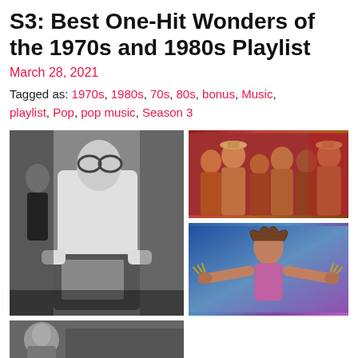S3: Best One-Hit Wonders of the 1970s and 1980s Playlist
March 28, 2021
Tagged as: 1970s, 1980s, 70s, 80s, bonus, Music, playlist, Pop, pop music, Season 3
[Figure (photo): Black and white photo of a person in white sweater with large glasses, seated with hands on a vintage television set, with another person in background]
[Figure (photo): Color photo of a group of people in festive/party attire with hats, against a red background]
[Figure (photo): Color photo of a performer with wild hair and dramatic pose on a blue/purple stage background]
[Figure (photo): Partial view of another black and white photo at the bottom of the page]